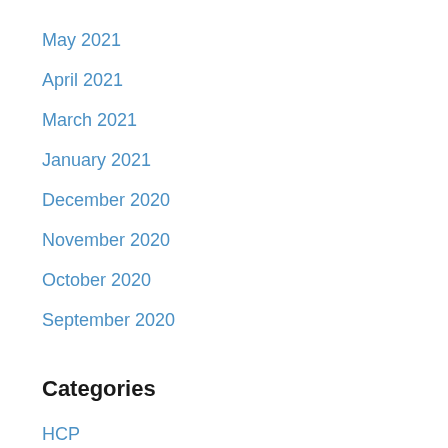May 2021
April 2021
March 2021
January 2021
December 2020
November 2020
October 2020
September 2020
Categories
HCP